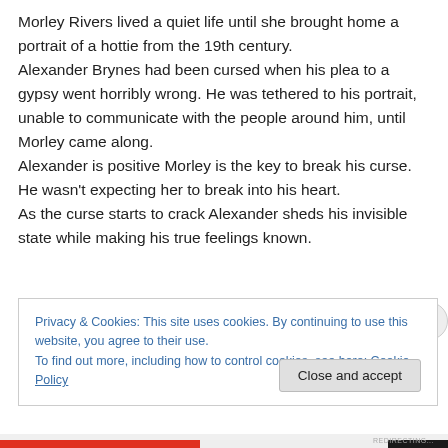Morley Rivers lived a quiet life until she brought home a portrait of a hottie from the 19th century. Alexander Brynes had been cursed when his plea to a gypsy went horribly wrong. He was tethered to his portrait, unable to communicate with the people around him, until Morley came along. Alexander is positive Morley is the key to break his curse. He wasn't expecting her to break into his heart. As the curse starts to crack Alexander sheds his invisible state while making his true feelings known.
Privacy & Cookies: This site uses cookies. By continuing to use this website, you agree to their use. To find out more, including how to control cookies, see here: Cookie Policy
Close and accept